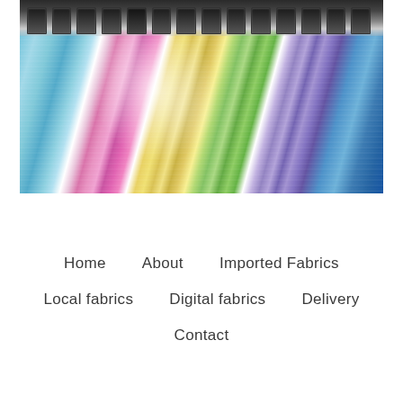[Figure (photo): Industrial large-format fabric printing machine with multiple ink cartridges at top, printing colorful striped fabric with vivid blue, pink/magenta, yellow, green, and purple stripes flowing in motion-blurred streaks]
Home   About   Imported Fabrics   Local fabrics   Digital fabrics   Delivery   Contact